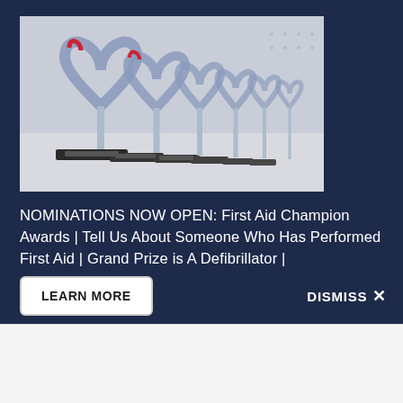[Figure (photo): Row of silver heart-shaped award trophies on a table, diminishing in perspective]
NOMINATIONS NOW OPEN: First Aid Champion Awards | Tell Us About Someone Who Has Performed First Aid | Grand Prize is A Defibrillator |
LEARN MORE
DISMISS X
[Figure (logo): St John Ambulance Australia logo — red rectangle with circular badge featuring Maltese cross and text, with 'St John' text below]
MENU